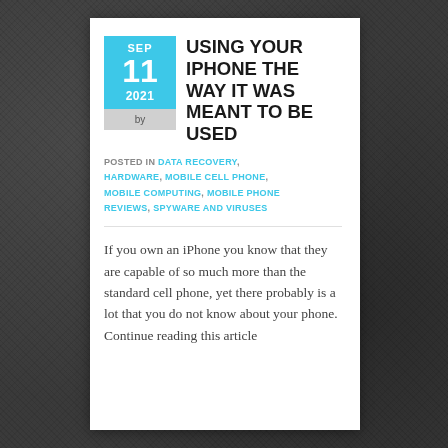USING YOUR IPHONE THE WAY IT WAS MEANT TO BE USED
SEP 11 2021 by
POSTED IN DATA RECOVERY, HARDWARE, MOBILE CELL PHONE, MOBILE COMPUTING, MOBILE PHONE REVIEWS, SPYWARE AND VIRUSES
If you own an iPhone you know that they are capable of so much more than the standard cell phone, yet there probably is a lot that you do not know about your phone. Continue reading this article